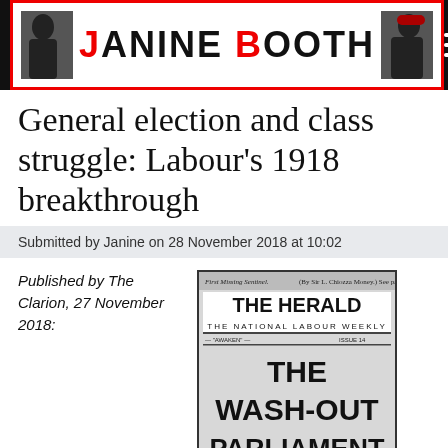JANINE BOOTH
General election and class struggle: Labour's 1918 breakthrough
Submitted by Janine on 28 November 2018 at 10:02
Published by The Clarion, 27 November 2018:
[Figure (photo): Newspaper front page of The Herald, The National Labour Weekly, with headline 'THE WASH-OUT PARLIAMENT']
Read more